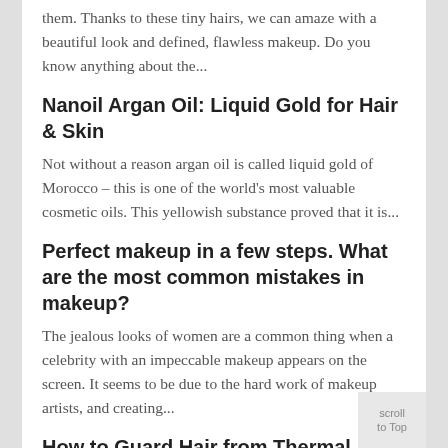them. Thanks to these tiny hairs, we can amaze with a beautiful look and defined, flawless makeup. Do you know anything about the...
Nanoil Argan Oil: Liquid Gold for Hair & Skin
Not without a reason argan oil is called liquid gold of Morocco – this is one of the world's most valuable cosmetic oils. This yellowish substance proved that it is...
Perfect makeup in a few steps. What are the most common mistakes in makeup?
The jealous looks of women are a common thing when a celebrity with an impeccable makeup appears on the screen. It seems to be due to the hard work of makeup artists, and creating...
How to Guard Hair from Thermal Damage Easily? Check Reviews of Best Heat Protectant Sprays
We love to blow-dry, curl and straighten our hair. Sadly, it makes the strands suffer! If you want to quickly do your hair using heat, then always remember to secure...